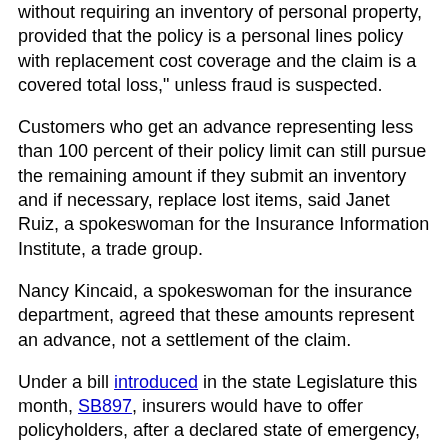without requiring an inventory of personal property, provided that the policy is a personal lines policy with replacement cost coverage and the claim is a covered total loss," unless fraud is suspected.
Customers who get an advance representing less than 100 percent of their policy limit can still pursue the remaining amount if they submit an inventory and if necessary, replace lost items, said Janet Ruiz, a spokeswoman for the Insurance Information Institute, a trade group.
Nancy Kincaid, a spokeswoman for the insurance department, agreed that these amounts represent an advance, not a settlement of the claim.
Under a bill introduced in the state Legislature this month, SB897, insurers would have to offer policyholders, after a declared state of emergency, a settlement equal to at least 80 percent of their contents coverage without requiring them to submit a detailed inventory. This provision would apply to claims filed July 1, 2017, or later by homeowners and renters. This bill states that this settlement "shall release the insurer from any further indemnity for loss of contents related to the claim."
Under a Provision...